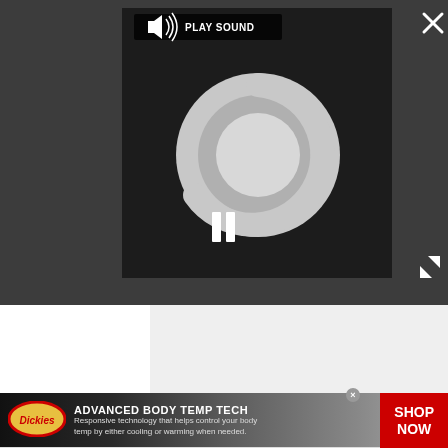[Figure (screenshot): Dark video player overlay with loading spinner, PLAY SOUND button, pause button, close X, and expand arrows]
[Figure (screenshot): Light gray content area below the video player]
[Figure (screenshot): Dickies advertisement banner: ADVANCED BODY TEMP TECH with SHOP NOW button]